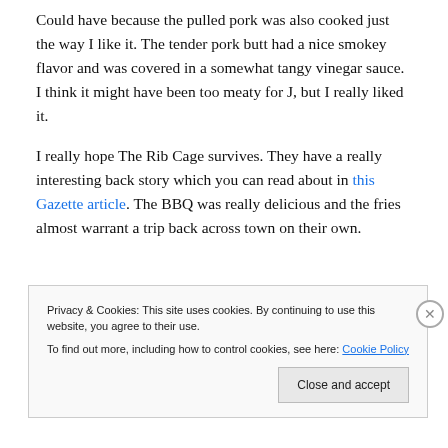Could have because the pulled pork was also cooked just the way I like it. The tender pork butt had a nice smokey flavor and was covered in a somewhat tangy vinegar sauce.  I think it might have been too meaty for J, but I really liked it.
I really hope The Rib Cage survives.  They have a really interesting back story which you can read about in this Gazette article.  The BBQ was really delicious and the fries almost warrant a trip back across town on their own.
Privacy & Cookies: This site uses cookies. By continuing to use this website, you agree to their use.
To find out more, including how to control cookies, see here: Cookie Policy
Close and accept